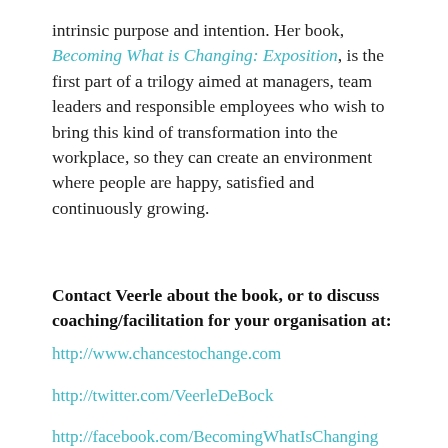intrinsic purpose and intention. Her book, Becoming What is Changing: Exposition, is the first part of a trilogy aimed at managers, team leaders and responsible employees who wish to bring this kind of transformation into the workplace, so they can create an environment where people are happy, satisfied and continuously growing.
Contact Veerle about the book, or to discuss coaching/facilitation for your organisation at:
http://www.chancestochange.com
http://twitter.com/VeerleDeBock
http://facebook.com/BecomingWhatIsChanging